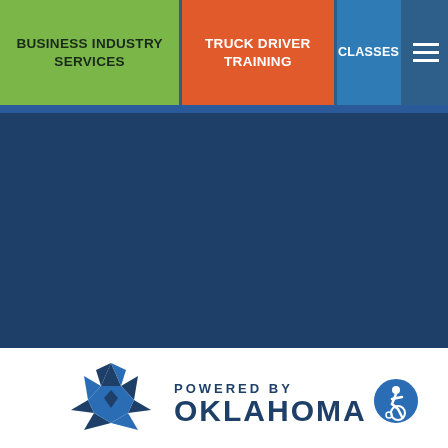BUSINESS INDUSTRY SERVICES
TRUCK DRIVER TRAINING
CLASSES
[Figure (logo): Oklahoma state star geometric logo with 'POWERED BY OKLAHOMA' text and accessibility icon]
POWERED BY OKLAHOMA